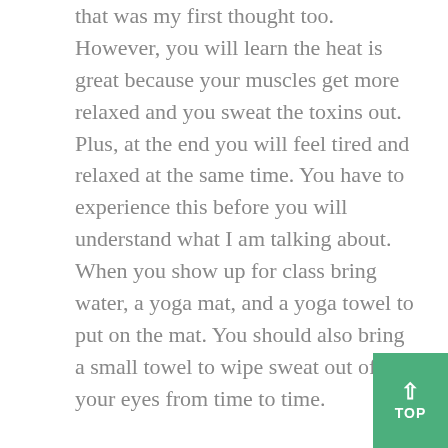that was my first thought too. However, you will learn the heat is great because your muscles get more relaxed and you sweat the toxins out. Plus, at the end you will feel tired and relaxed at the same time. You have to experience this before you will understand what I am talking about. When you show up for class bring water, a yoga mat, and a yoga towel to put on the mat. You should also bring a small towel to wipe sweat out of your eyes from time to time.

When you finally get to class (I know you will), I recommend going to the back of the room so you can observe others in front of you doing the poses